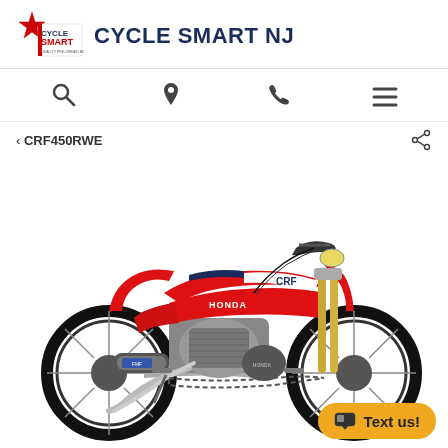CYCLE SMART NJ
< CRF450RWE
[Figure (photo): Red Honda CRF450RWE motocross dirt bike, side view on white background, showing knobby tires, gold front forks, red bodywork with Honda and CRF graphics, exhaust pipe, and engine.]
Text us!